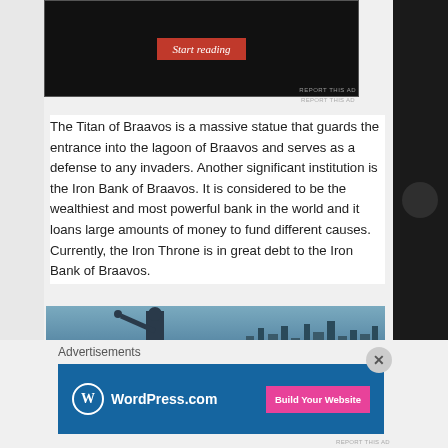[Figure (screenshot): Dark background ad area with a red 'Start reading' button in italic text]
The Titan of Braavos is a massive statue that guards the entrance into the lagoon of Braavos and serves as a defense to any invaders. Another significant institution is the Iron Bank of Braavos. It is considered to be the wealthiest and most powerful bank in the world and it loans large amounts of money to fund different causes. Currently, the Iron Throne is in great debt to the Iron Bank of Braavos.
[Figure (illustration): Fantasy landscape image showing a large statue (Titan of Braavos) overlooking a city and lagoon]
Advertisements
[Figure (screenshot): WordPress.com advertisement banner with blue background, WordPress logo, and pink 'Build Your Website' button]